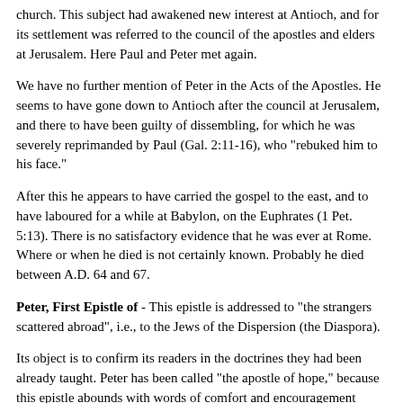church. This subject had awakened new interest at Antioch, and for its settlement was referred to the council of the apostles and elders at Jerusalem. Here Paul and Peter met again.
We have no further mention of Peter in the Acts of the Apostles. He seems to have gone down to Antioch after the council at Jerusalem, and there to have been guilty of dissembling, for which he was severely reprimanded by Paul (Gal. 2:11-16), who "rebuked him to his face."
After this he appears to have carried the gospel to the east, and to have laboured for a while at Babylon, on the Euphrates (1 Pet. 5:13). There is no satisfactory evidence that he was ever at Rome. Where or when he died is not certainly known. Probably he died between A.D. 64 and 67.
Peter, First Epistle of - This epistle is addressed to "the strangers scattered abroad", i.e., to the Jews of the Dispersion (the Diaspora).
Its object is to confirm its readers in the doctrines they had been already taught. Peter has been called "the apostle of hope," because this epistle abounds with words of comfort and encouragement fitted to sustain a "lively hope." It contains about thirty-five references to the Old Testament.
It was written from Babylon, on the Euphrates, which was at this